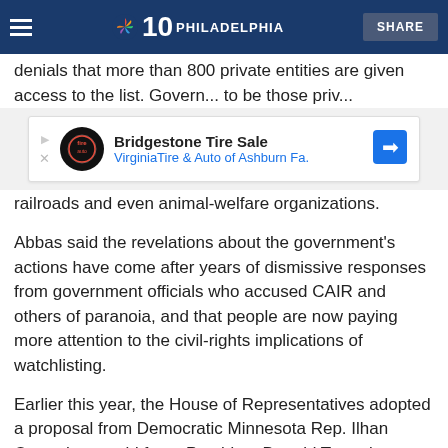NBC 10 Philadelphia | SHARE
denials that more than 800 private entities are given access to the list. Government entities to be those private...
[Figure (other): Advertisement banner for Bridgestone Tire Sale at Virginia Tire & Auto of Ashburn Fa.]
railroads and even animal-welfare organizations.
Abbas said the revelations about the government's actions have come after years of dismissive responses from government officials who accused CAIR and others of paranoia, and that people are now paying more attention to the civil-rights implications of watchlisting.
Earlier this year, the House of Representatives adopted a proposal from Democratic Minnesota Rep. Ilhan Omar that would force President Donald Trump's administration to disclose details about how it shares the watchlist with foreign countries.